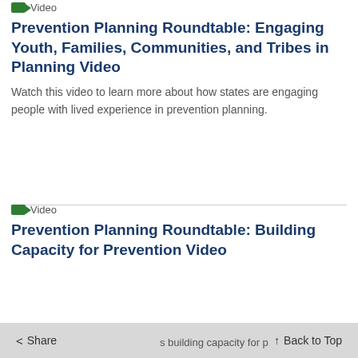Video
Prevention Planning Roundtable: Engaging Youth, Families, Communities, and Tribes in Planning Video
Watch this video to learn more about how states are engaging people with lived experience in prevention planning.
Video
Prevention Planning Roundtable: Building Capacity for Prevention Video
Watch this video to learn more about state s building capacity for p
< Share   Back to Top